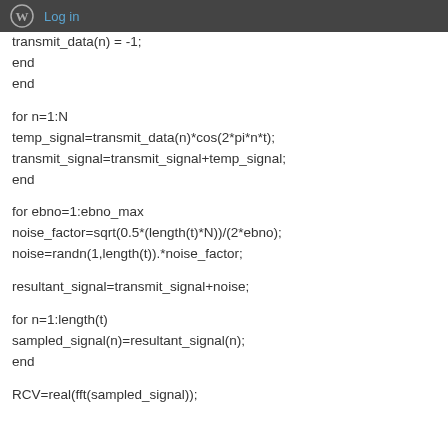Log in
transmit_data(n) = -1;
end
end

for n=1:N
temp_signal=transmit_data(n)*cos(2*pi*n*t);
transmit_signal=transmit_signal+temp_signal;
end

for ebno=1:ebno_max
noise_factor=sqrt(0.5*(length(t)*N))/(2*ebno);
noise=randn(1,length(t)).*noise_factor;

resultant_signal=transmit_signal+noise;

for n=1:length(t)
sampled_signal(n)=resultant_signal(n);
end

RCV=real(fft(sampled_signal));